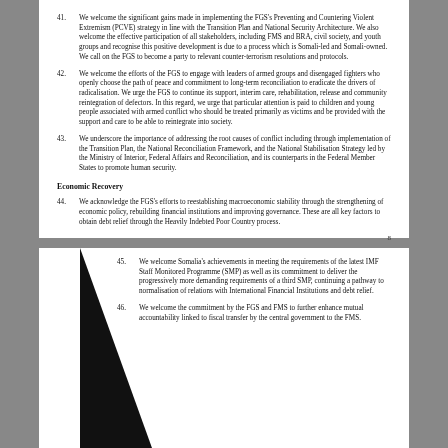41. We welcome the significant gains made in implementing the FGS's Preventing and Countering Violent Extremism (PCVE) strategy in line with the Transition Plan and National Security Architecture. We also welcome the effective participation of all stakeholders, including FMS and BRA, civil society, and youth groups and recognise this positive development is due to a process which is Somali-led and Somali-owned. We call on the FGS to become a party to relevant counter-terrorism resolutions and protocols.
42. We welcome the efforts of the FGS to engage with leaders of armed groups and disengaged fighters who openly choose the path of peace and commitment to long-term reconciliation to eradicate the drivers of radicalisation. We urge the FGS to continue its support, interim care, rehabilitation, release and community reintegration of defectors. In this regard, we urge that particular attention is paid to children and young people associated with armed conflict who should be treated primarily as victims and be provided with the support and care to be able to reintegrate into society.
43. We underscore the importance of addressing the root causes of conflict including through implementation of the Transition Plan, the National Reconciliation Framework, and the National Stabilisation Strategy led by the Ministry of Interior, Federal Affairs and Reconciliation, and its counterparts in the Federal Member States to promote human security.
Economic Recovery
44. We acknowledge the FGS's efforts to reestablishing macroeconomic stability through the strengthening of economic policy, rebuilding financial institutions and improving governance. These are all key factors to obtain debt relief through the Heavily Indebted Poor Country process.
45. We welcome Somalia's achievements in meeting the requirements of the latest IMF Staff Monitored Programme (SMP) as well as its commitment to deliver the progressively more demanding requirements of a third SMP, continuing a pathway to normalisation of relations with International Financial Institutions and debt relief.
46. We welcome the commitment by the FGS and FMS to further enhance mutual accountability linked to fiscal transfer by the central government to the FMS.